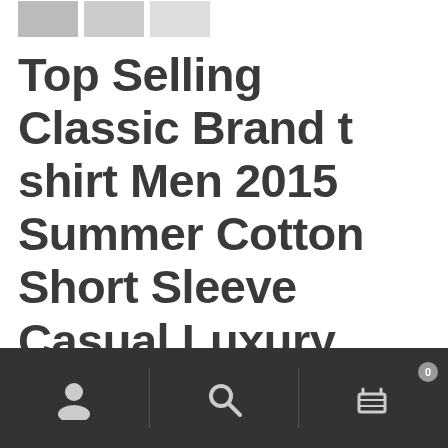[Figure (screenshot): Row of small product thumbnail images at the top of the page]
Top Selling Classic Brand t shirt Men 2015 Summer Cotton Short Sleeve Casual Luxury Brand Designer T-Shirt Tees Plus Size Tops
$48.99  $20.09
[Figure (screenshot): Bottom navigation bar with user account icon, search icon, and shopping cart icon with badge showing 0]